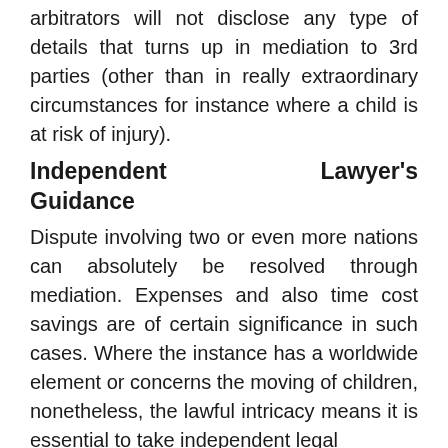arbitrators will not disclose any type of details that turns up in mediation to 3rd parties (other than in really extraordinary circumstances for instance where a child is at risk of injury).
Independent Lawyer's Guidance
Dispute involving two or even more nations can absolutely be resolved through mediation. Expenses and also time cost savings are of certain significance in such cases. Where the instance has a worldwide element or concerns the moving of children, nonetheless, the lawful intricacy means it is essential to take independent legal